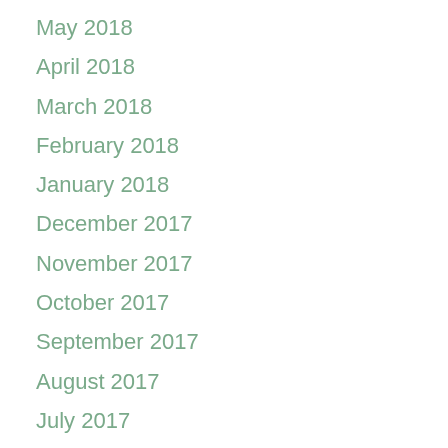May 2018
April 2018
March 2018
February 2018
January 2018
December 2017
November 2017
October 2017
September 2017
August 2017
July 2017
June 2017
May 2017
April 2017
March 2017
February 2017